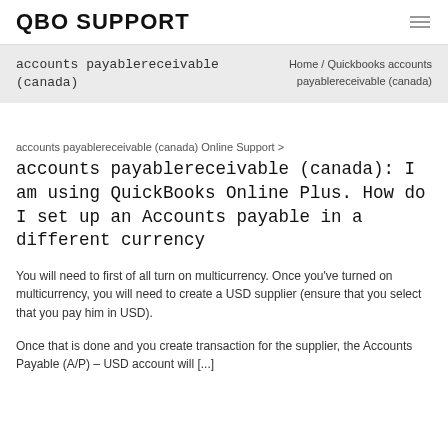QBO SUPPORT
accounts payablereceivable (canada)
Home / Quickbooks accounts payablereceivable (canada)
accounts payablereceivable (canada) Online Support >
accounts payablereceivable (canada): I am using QuickBooks Online Plus. How do I set up an Accounts payable in a different currency
You will need to first of all turn on multicurrency. Once you've turned on multicurrency, you will need to create a USD supplier (ensure that you select that you pay him in USD).
Once that is done and you create transaction for the supplier, the Accounts Payable (A/P) – USD account will [...]